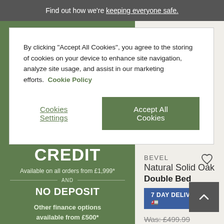Find out how we're keeping everyone safe.
By clicking "Accept All Cookies", you agree to the storing of cookies on your device to enhance site navigation, analyze site usage, and assist in our marketing efforts. Cookie Policy
Cookies Settings
Accept All Cookies
CREDIT
Available on all orders from £1,999*
AND
NO DEPOSIT
Other finance options available from £500*
BEVEL
Natural Solid Oak
Double Bed
7 DAY DELIVERY*
Was: £499.99
£399.99
Finance from £10 p/m*
Minimum basket spend of £500